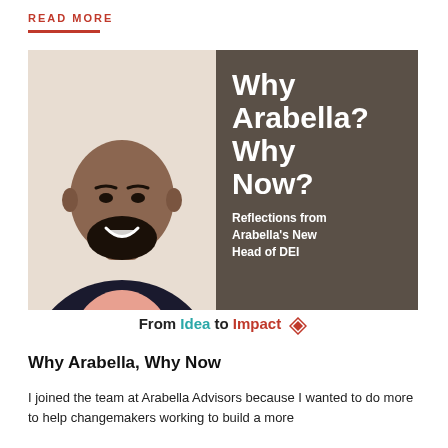READ MORE
[Figure (photo): Composite image: left side shows a professional headshot of a smiling bald man with a beard wearing a dark suit and pink shirt against a light background; right side is a dark taupe/brown panel with white bold text reading 'Why Arabella? Why Now? Reflections from Arabella's New Head of DEI'; bottom strip shows 'From Idea to Impact' branding with a diamond logo.]
Why Arabella, Why Now
I joined the team at Arabella Advisors because I wanted to do more to help changemakers working to build a more